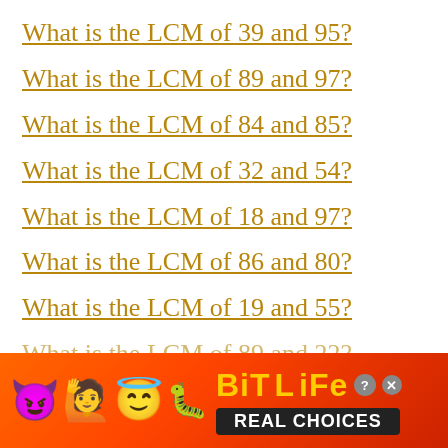What is the LCM of 39 and 95?
What is the LCM of 89 and 97?
What is the LCM of 84 and 85?
What is the LCM of 32 and 54?
What is the LCM of 18 and 97?
What is the LCM of 86 and 80?
What is the LCM of 19 and 55?
What is the LCM of 89 and 22?
Wha...
[Figure (screenshot): BitLife advertisement banner with emoji characters, BitLife logo, and 'REAL CHOICES' text on orange-red background]